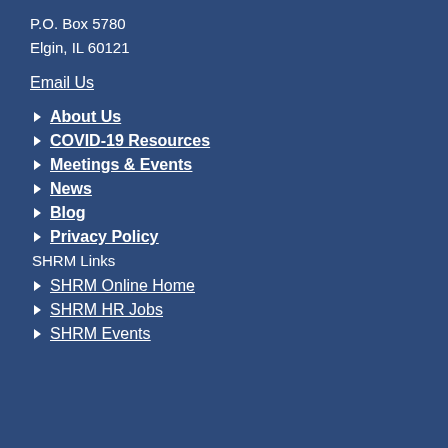P.O. Box 5780
Elgin, IL 60121
Email Us
About Us
COVID-19 Resources
Meetings & Events
News
Blog
Privacy Policy
SHRM Links
SHRM Online Home
SHRM HR Jobs
SHRM Events